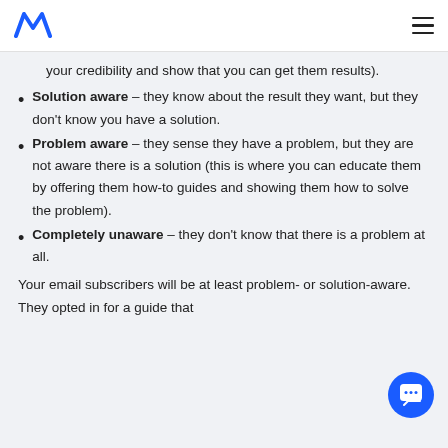Logo and hamburger menu
your credibility and show that you can get them results).
Solution aware – they know about the result they want, but they don't know you have a solution.
Problem aware – they sense they have a problem, but they are not aware there is a solution (this is where you can educate them by offering them how-to guides and showing them how to solve the problem).
Completely unaware – they don't know that there is a problem at all.
Your email subscribers will be at least problem- or solution-aware. They opted in for a guide that